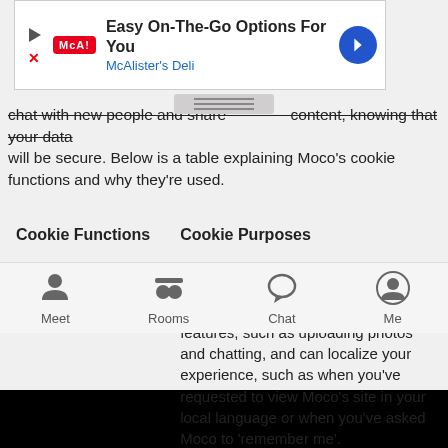[Figure (screenshot): Ad banner for McAlister's Deli: 'Easy On-The-Go Options For You' with logo, play button, X button, and navigation arrow]
chat with new people and share content, knowing that your data will be secure. Below is a table explaining Moco's cookie functions and why they're used.
| Cookie Functions | Cookie Purposes |
| --- | --- |
| Authentication | These cookies help us to identify our members so that when you're logged in, you can enjoy Moco's various features, such as uploading photos and chatting, and can localize your experience, such as when you've requested to view Moco's site in your local language or when you've asked Moco to 'remember me'.

Moco uses Google Analytics to collect information about how visitors use the Moco site and app. We use the information |
Meet   Rooms   Chat   Me